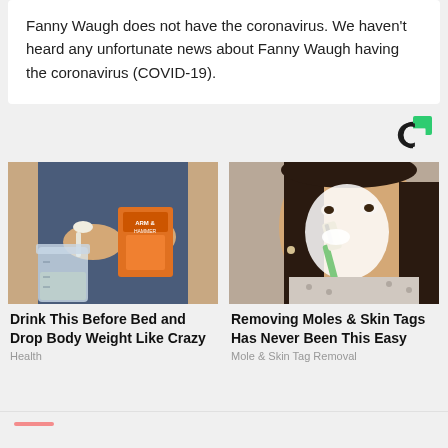Fanny Waugh does not have the coronavirus. We haven't heard any unfortunate news about Fanny Waugh having the coronavirus (COVID-19).
[Figure (logo): Circular C logo in black and green, sponsored content indicator]
[Figure (photo): Person holding a spoon and orange Arm & Hammer baking soda box over a mason jar]
[Figure (photo): Young woman applying white cream/mask to her face with a green toothbrush]
Drink This Before Bed and Drop Body Weight Like Crazy
Removing Moles & Skin Tags Has Never Been This Easy
Health
Mole & Skin Tag Removal